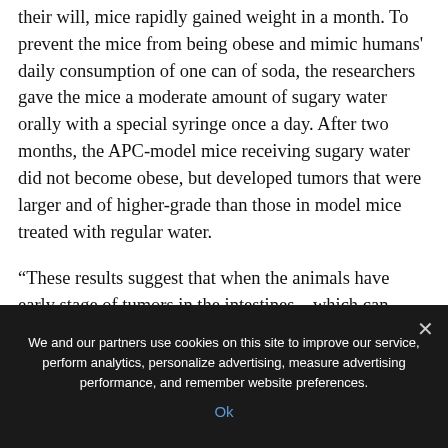their will, mice rapidly gained weight in a month. To prevent the mice from being obese and mimic humans' daily consumption of one can of soda, the researchers gave the mice a moderate amount of sugary water orally with a special syringe once a day. After two months, the APC-model mice receiving sugary water did not become obese, but developed tumors that were larger and of higher-grade than those in model mice treated with regular water.
“These results suggest that when the animals have early stage of tumors in the intestines—which can occur in many young adult humans by chance and without notice—consuming even modest amounts of
We and our partners use cookies on this site to improve our service, perform analytics, personalize advertising, measure advertising performance, and remember website preferences.
Ok